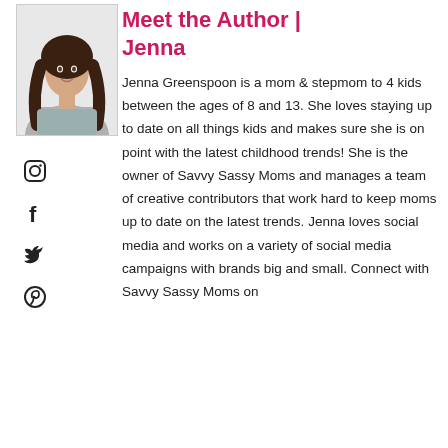[Figure (photo): Portrait photo of a young woman with long dark hair, looking slightly to the side, light background]
[Figure (infographic): Social media icons column: Instagram, Facebook, Twitter, Pinterest]
Meet the Author | Jenna
Jenna Greenspoon is a mom & stepmom to 4 kids between the ages of 8 and 13. She loves staying up to date on all things kids and makes sure she is on point with the latest childhood trends! She is the owner of Savvy Sassy Moms and manages a team of creative contributors that work hard to keep moms up to date on the latest trends. Jenna loves social media and works on a variety of social media campaigns with brands big and small. Connect with Savvy Sassy Moms on